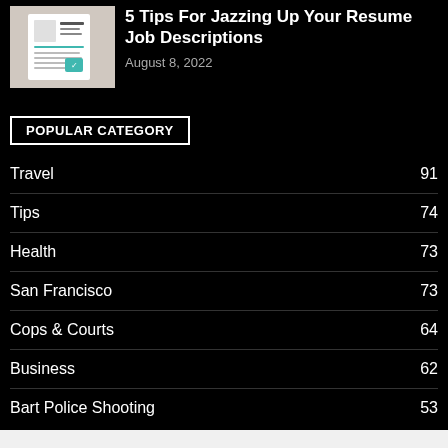[Figure (photo): Thumbnail image of a resume document with teal/green accents on a light background]
5 Tips For Jazzing Up Your Resume Job Descriptions
August 8, 2022
POPULAR CATEGORY
Travel  91
Tips  74
Health  73
San Francisco  73
Cops & Courts  64
Business  62
Bart Police Shooting  53